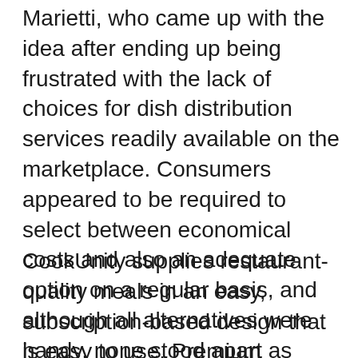Marietti, who came up with the idea after ending up being frustrated with the lack of choices for dish distribution services readily available on the marketplace. Consumers appeared to be required to select between economical costs and also an adequate option on a regular basis, and although all alternatives were handy, none stood apart as particularly noteworthy.
CookUnity supplies restaurant-quality meals in an easy, subscription-based design that is easy to use. Premium delicacies are available at a low cost thanks to the solution, which attaches expert cooks with day-to-day consumers. CookUnity advertises itself as being a chef-driven facility, serving customized meals that vary once a week and